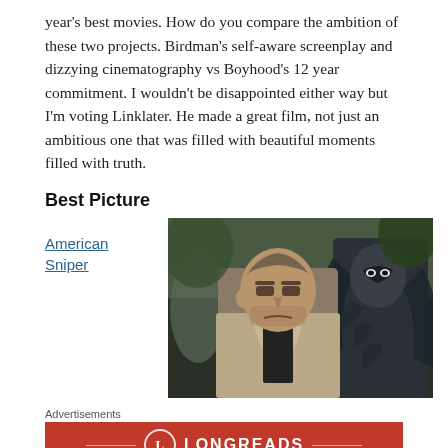year's best movies. How do you compare the ambition of these two projects. Birdman's self-aware screenplay and dizzying cinematography vs Boyhood's 12 year commitment. I wouldn't be disappointed either way but I'm voting Linklater. He made a great film, not just an ambitious one that was filled with beautiful moments filled with truth.
Best Picture
American Sniper
[Figure (photo): Movie still from Birdman showing two men — one in a beige jacket looking serious in the foreground, the other in a black bird/superhero costume with a mask in the background, against a blurred city street.]
Advertisements
[Figure (logo): Longreads advertisement banner — red background with a circle containing the letter L and the text LONGREADS in white capital letters with decorative lines on either side.]